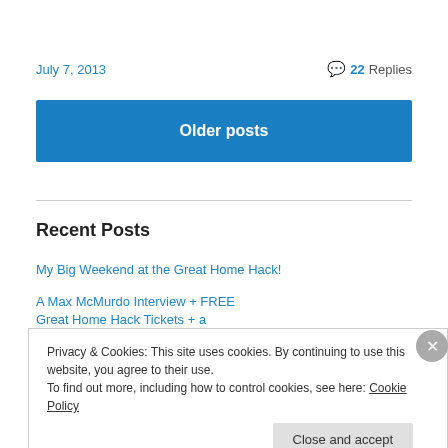July 7, 2013
💬 22 Replies
Older posts
Recent Posts
My Big Weekend at the Great Home Hack!
A Max McMurdo Interview + FREE Great Home Hack Tickets + a GIVEAWAY!!
Privacy & Cookies: This site uses cookies. By continuing to use this website, you agree to their use.
To find out more, including how to control cookies, see here: Cookie Policy
Close and accept